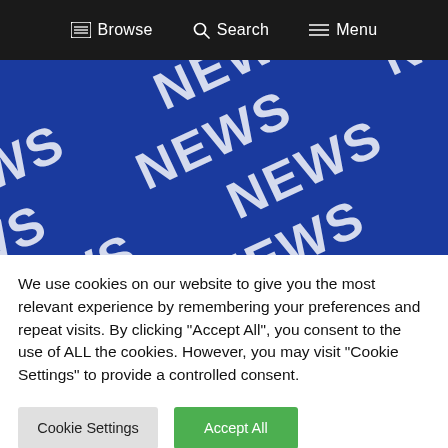Browse   Search   Menu
[Figure (photo): Blue background with repeating white 'NEWS' text printed diagonally across the surface in a textile/print pattern]
We use cookies on our website to give you the most relevant experience by remembering your preferences and repeat visits. By clicking "Accept All", you consent to the use of ALL the cookies. However, you may visit "Cookie Settings" to provide a controlled consent.
Cookie Settings   Accept All